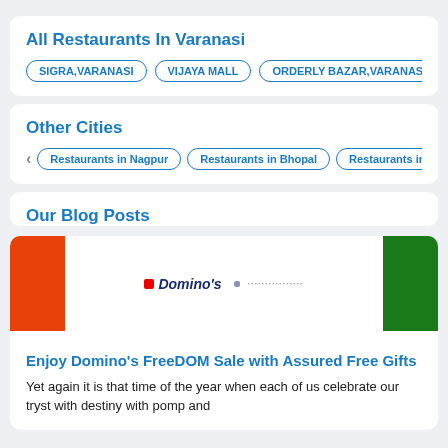All Restaurants In Varanasi
SIGRA,VARANASI
VIJAYA MALL
ORDERLY BAZAR,VARANASI,UT
Other Cities
Restaurants in Nagpur
Restaurants in Bhopal
Restaurants in Thar
Our Blog Posts
[Figure (photo): Domino's FreeDOM Sale promotional banner with orange, white and green colors (Indian flag colors)]
Enjoy Domino’s FreeDOM Sale with Assured Free Gifts
Yet again it is that time of the year when each of us celebrate our tryst with destiny with pomp and